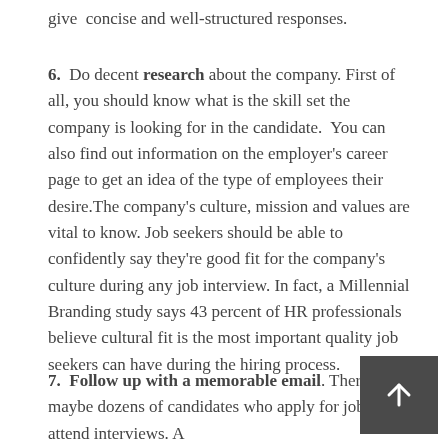give concise and well-structured responses.
6. Do decent research about the company. First of all, you should know what is the skill set the company is looking for in the candidate. You can also find out information on the employer's career page to get an idea of the type of employees their desire.The company's culture, mission and values are vital to know. Job seekers should be able to confidently say they're good fit for the company's culture during any job interview. In fact, a Millennial Branding study says 43 percent of HR professionals believe cultural fit is the most important quality job seekers can have during the hiring process.
7. Follow up with a memorable email. There maybe dozens of candidates who apply for jobs and attend interviews. A